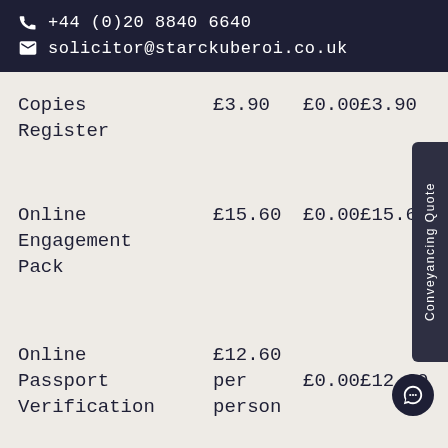+44 (0)20 8840 6640
solicitor@starckuberoi.co.uk
| Item | Price | VAT | Total |
| --- | --- | --- | --- |
| Copies Register | £3.90 | £0.00 | £3.90 |
| Online Engagement Pack | £15.60 | £0.00 | £15.60 |
| Online Passport Verification | £12.60 per person | £0.00 | £12.60 |